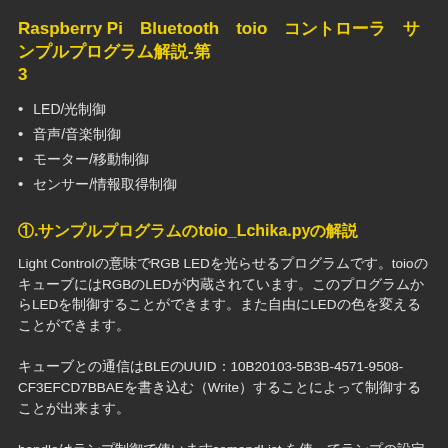Raspberry Pi　Bluetooth　toio　コントローラ　サンプルプログラム解説-第3
LED/光制御
音声/音楽制御
モーター/移動制御
センサー/情報取得制御
①.サンプルプログラムのtoio_Lchika.pyの解説
Light Controlの意味でRGB LEDを光らせるプログラムです。toioのキューブにはRGBのLEDが内蔵されています。このプログラムからLEDを制御することができます。また自由にLEDの色を変えることができます。
キューブとの通信はBLEのUUID：10B20103-5B3B-4571-9508-CF3EFCD7BBAEを書き込む（Write）することによって制御することが出来ます。
handleはランプ制御で使いますcomandList を使ってランプの設定をしていきます